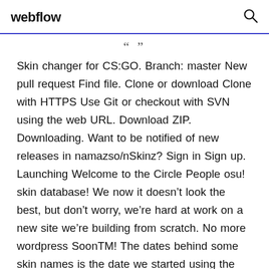webflow
" "
Skin changer for CS:GO. Branch: master New pull request Find file. Clone or download Clone with HTTPS Use Git or checkout with SVN using the web URL. Download ZIP. Downloading. Want to be notified of new releases in namazso/nSkinz? Sign in Sign up. Launching Welcome to the Circle People osu! skin database! We now it doesn't look the best, but don't worry, we're hard at work on a new site we're building from scratch. No more wordpress SoonTM! The dates behind some skin names is the date we started using the skins in our videos, not when the player started using it! Fixed eventlog, added year to